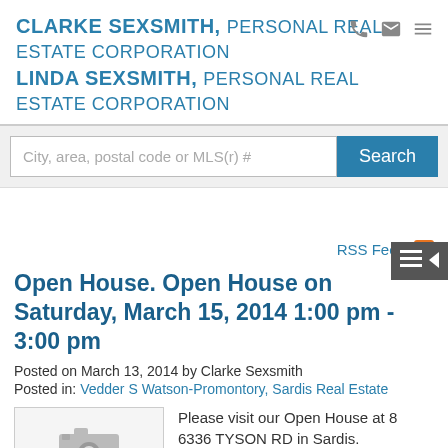CLARKE SEXSMITH, PERSONAL REAL ESTATE CORPORATION LINDA SEXSMITH, PERSONAL REAL ESTATE CORPORATION
City, area, postal code or MLS(r) #
RSS Feed
Open House. Open House on Saturday, March 15, 2014 1:00 pm - 3:00 pm
Posted on March 13, 2014 by Clarke Sexsmith
Posted in: Vedder S Watson-Promontory, Sardis Real Estate
[Figure (photo): Placeholder camera icon image for property listing]
Please visit our Open House at 8 6336 TYSON RD in Sardis.